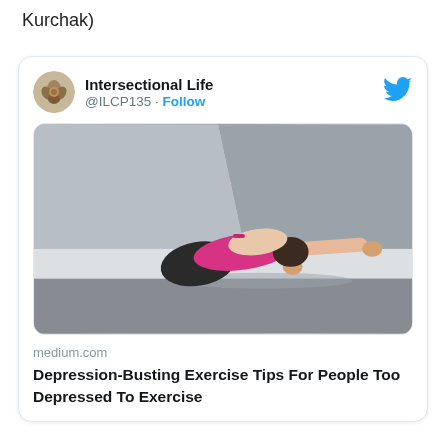Kurchak)
[Figure (screenshot): Twitter/X card embed showing Intersectional Life (@ILCP135) with a Follow button, a photo of a woman in a pink sports bra doing a child's pose yoga stretch on a concrete ledge outdoors, with a medium.com article link titled 'Depression-Busting Exercise Tips For People Too Depressed To Exercise']
medium.com
Depression-Busting Exercise Tips For People Too Depressed To Exercise